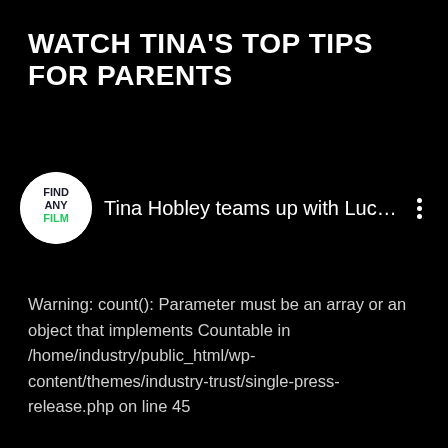WATCH TINA'S TOP TIPS FOR PARENTS
[Figure (logo): FindAnyFilm circular logo with white background, showing 'FIND ANY FILM' text with 'FILM' in green]
Tina Hobley teams up with Lucy fr…
Warning: count(): Parameter must be an array or an object that implements Countable in /home/industry/public_html/wp-content/themes/industry-trust/single-press-release.php on line 45